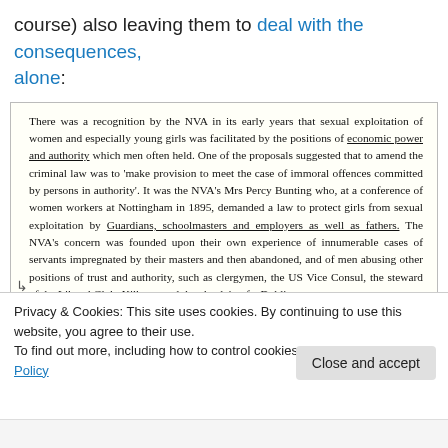course) also leaving them to deal with the consequences, alone:
[Figure (screenshot): Scanned book page excerpt discussing the NVA's recognition of sexual exploitation of women by men in positions of economic power and authority, with underlined phrases 'economic power and authority' and 'Guardians, schoolmasters and employers as well as fathers'.]
Privacy & Cookies: This site uses cookies. By continuing to use this website, you agree to their use.
To find out more, including how to control cookies, see here: Cookie Policy